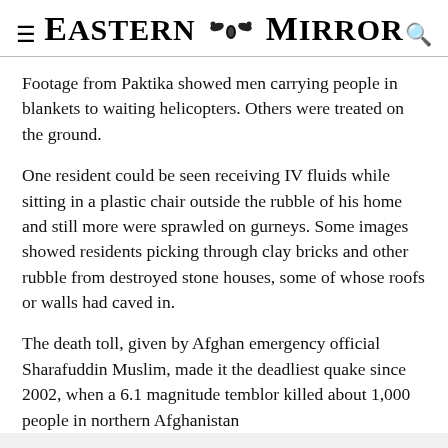Eastern Mirror
Footage from Paktika showed men carrying people in blankets to waiting helicopters. Others were treated on the ground.
One resident could be seen receiving IV fluids while sitting in a plastic chair outside the rubble of his home and still more were sprawled on gurneys. Some images showed residents picking through clay bricks and other rubble from destroyed stone houses, some of whose roofs or walls had caved in.
The death toll, given by Afghan emergency official Sharafuddin Muslim, made it the deadliest quake since 2002, when a 6.1 magnitude temblor killed about 1,000 people in northern Afghanistan